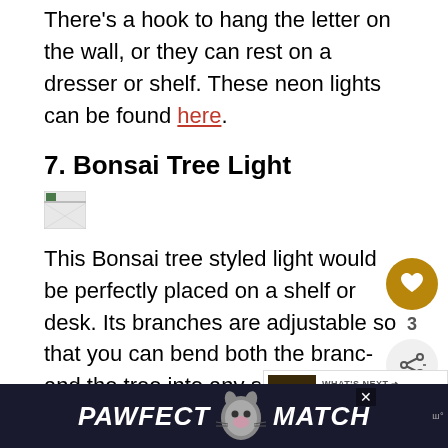There's a hook to hang the letter on the wall, or they can rest on a dresser or shelf. These neon lights can be found here.
7. Bonsai Tree Light
[Figure (photo): Small image placeholder icon for Bonsai Tree Light product image]
This Bonsai tree styled light would be perfectly placed on a shelf or desk. Its branches are adjustable so that you can bend both the branches and the tree into any shape you like, and embellished with 48 warm LED lights. If you're looking for a touch of nature in your room, this
[Figure (infographic): Heart/like button showing count of 3 and share button widget on right side]
[Figure (infographic): What's Next card: How To Decorate... with thumbnail image]
[Figure (infographic): PAWFECT MATCH advertisement banner at bottom of page]